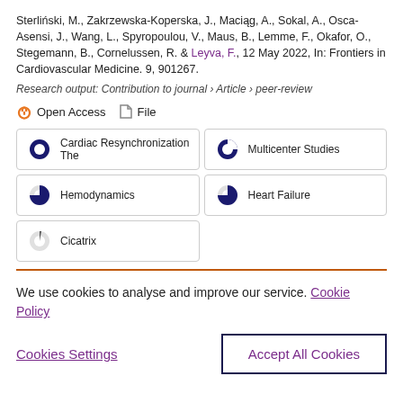Sterliński, M., Zakrzewska-Koperska, J., Maciąg, A., Sokal, A., Osca-Asensi, J., Wang, L., Spyropoulou, V., Maus, B., Lemme, F., Okafor, O., Stegemann, B., Cornelussen, R. & Leyva, F., 12 May 2022, In: Frontiers in Cardiovascular Medicine. 9, 901267.
Research output: Contribution to journal › Article › peer-review
Open Access   File
Cardiac Resynchronization The
Multicenter Studies
Hemodynamics
Heart Failure
Cicatrix
We use cookies to analyse and improve our service. Cookie Policy
Cookies Settings
Accept All Cookies